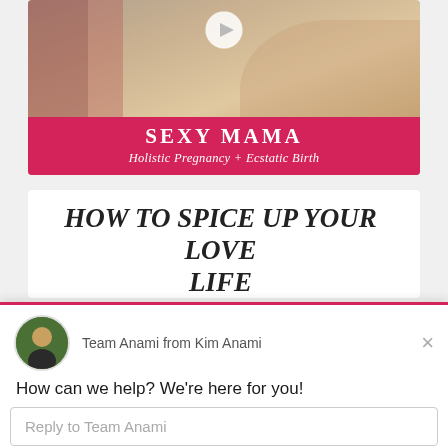[Figure (screenshot): Video thumbnail showing a woman in floral dress, with a white play button overlay. Pink banner at the bottom reads SEXY MAMA / Holistic Pregnancy + Ecstatic Birth]
HOW TO SPICE UP YOUR LOVE LIFE
[Figure (screenshot): Chat widget popup from Team Anami / Kim Anami with avatar photo, message 'How can we help? We're here for you!' and a reply input field]
Team Anami from Kim Anami
How can we help? We're here for you!
Reply to Team Anami